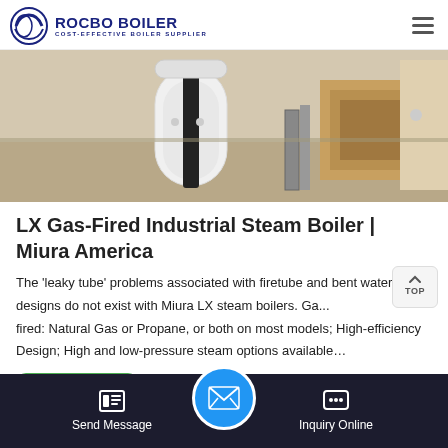ROCBO BOILER — COST-EFFECTIVE BOILER SUPPLIER
[Figure (photo): Industrial boiler equipment in a warehouse setting, showing white cylindrical boiler unit alongside industrial machinery on a concrete floor]
LX Gas-Fired Industrial Steam Boiler | Miura America
The 'leaky tube' problems associated with firetube and bent watertube designs do not exist with Miura LX steam boilers. Gas-fired: Natural Gas or Propane, or both on most models; High-efficiency Design; High and low-pressure steam options available…
Send Message | Inquiry Online